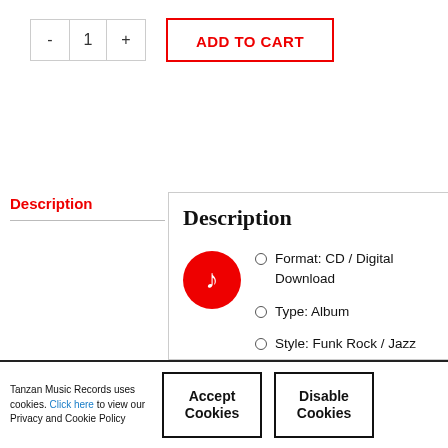[Figure (other): Quantity selector with minus, 1, plus buttons and an ADD TO CART button with red border]
Description
Description
Format: CD / Digital Download
Type: Album
Style: Funk Rock / Jazz
Tanzan Music Records uses cookies. Click here to view our Privacy and Cookie Policy | Accept Cookies | Disable Cookies